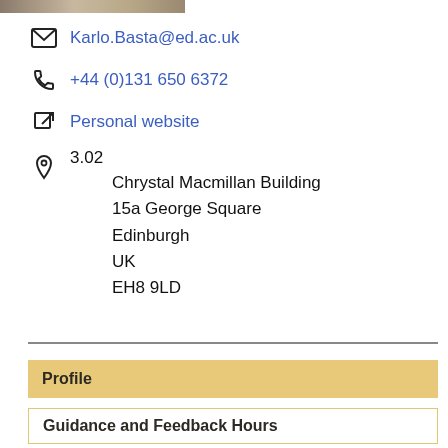[Figure (photo): Partial photo strip at top of page showing a person's portrait cropped]
Karlo.Basta@ed.ac.uk
+44 (0)131 650 6372
Personal website
3.02
Chrysal Macmillan Building
15a George Square
Edinburgh
UK
EH8 9LD
Profile
Guidance and Feedback Hours